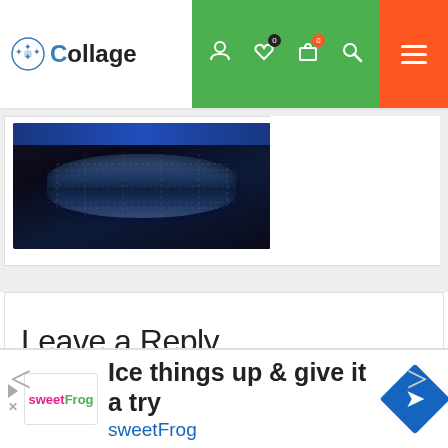Collage — navigation bar with logo, icons, hamburger menu
[Figure (photo): Product photo of a dark blue/black pillow-shaped packaging item against dark background]
Leave a Reply
Your email address will not be published. Required fields are marked *
nent *
[Figure (infographic): Advertisement banner: Ice things up & give it a try — sweetFrog logo and icon]